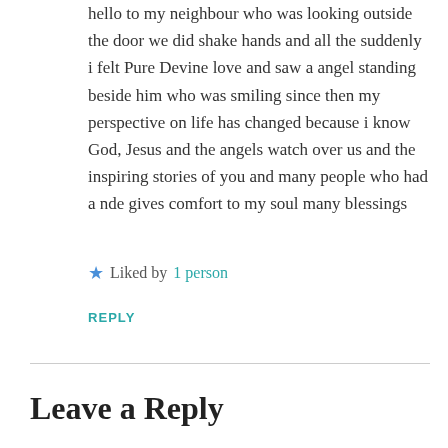hello to my neighbour who was looking outside the door we did shake hands and all the suddenly i felt Pure Devine love and saw a angel standing beside him who was smiling since then my perspective on life has changed because i know God, Jesus and the angels watch over us and the inspiring stories of you and many people who had a nde gives comfort to my soul many blessings
★ Liked by 1 person
REPLY
Leave a Reply